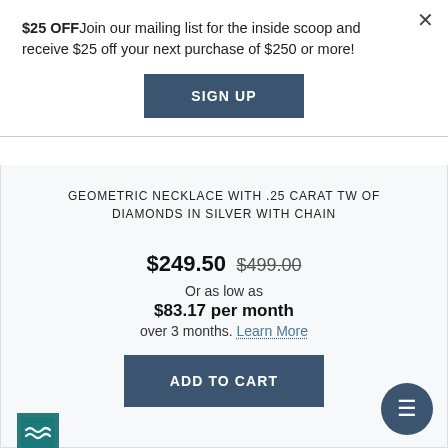$25 OFFJoin our mailing list for the inside scoop and receive $25 off your next purchase of $250 or more!
SIGN UP
GEOMETRIC NECKLACE WITH .25 CARAT TW OF DIAMONDS IN SILVER WITH CHAIN
$249.50 $499.00
Or as low as $83.17 per month over 3 months. Learn More
ADD TO CART